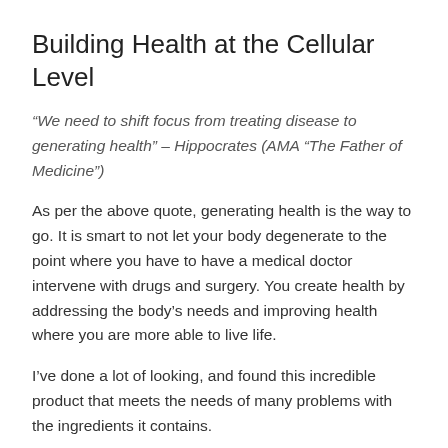Building Health at the Cellular Level
“We need to shift focus from treating disease to generating health” – Hippocrates (AMA “The Father of Medicine”)
As per the above quote, generating health is the way to go. It is smart to not let your body degenerate to the point where you have to have a medical doctor intervene with drugs and surgery. You create health by addressing the body’s needs and improving health where you are more able to live life.
I’ve done a lot of looking, and found this incredible product that meets the needs of many problems with the ingredients it contains.
Read: Cellular Health and recommended nutrition.